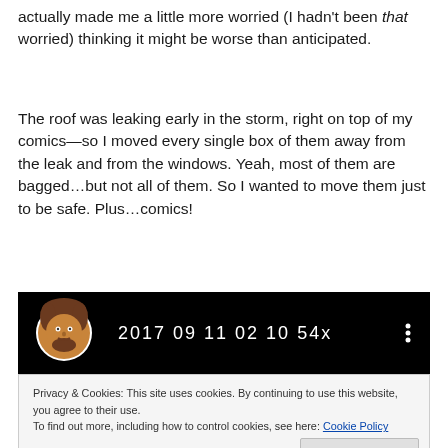actually made me a little more worried (I hadn't been that worried) thinking it might be worse than anticipated.
The roof was leaking early in the storm, right on top of my comics—so I moved every single box of them away from the leak and from the windows. Yeah, most of them are bagged…but not all of them. So I wanted to move them just to be safe. Plus…comics!
[Figure (screenshot): Dark video player bar showing an avatar image on the left, timestamp '2017 09 11 02 10 54x' in white text, and three-dot menu icon on the right.]
Privacy & Cookies: This site uses cookies. By continuing to use this website, you agree to their use.
To find out more, including how to control cookies, see here: Cookie Policy
Close and accept